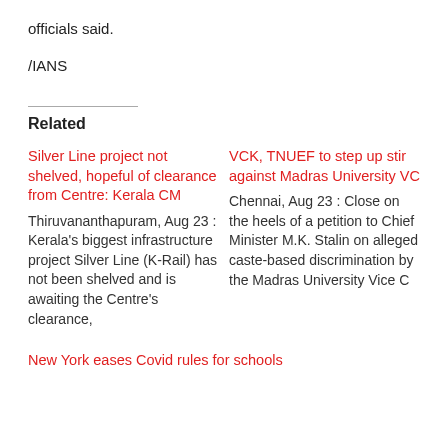officials said.
/IANS
Related
Silver Line project not shelved, hopeful of clearance from Centre: Kerala CM
Thiruvananthapuram, Aug 23 : Kerala's biggest infrastructure project Silver Line (K-Rail) has not been shelved and is awaiting the Centre's clearance,
VCK, TNUEF to step up stir against Madras University VC
Chennai, Aug 23 : Close on the heels of a petition to Chief Minister M.K. Stalin on alleged caste-based discrimination by the Madras University Vice C
New York eases Covid rules for schools